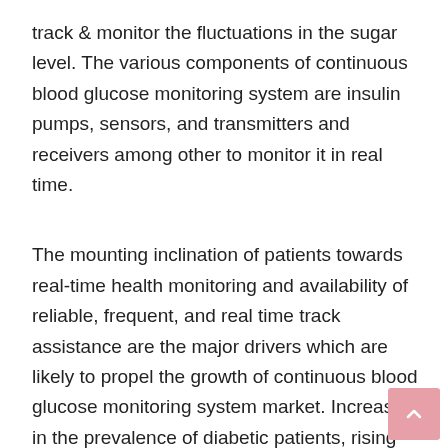track & monitor the fluctuations in the sugar level. The various components of continuous blood glucose monitoring system are insulin pumps, sensors, and transmitters and receivers among other to monitor it in real time.
The mounting inclination of patients towards real-time health monitoring and availability of reliable, frequent, and real time track assistance are the major drivers which are likely to propel the growth of continuous blood glucose monitoring system market. Increase in the prevalence of diabetic patients, rising attention towards health awareness, and increasing affordability of devices are likely to add new opportunities for this market in the coming years.